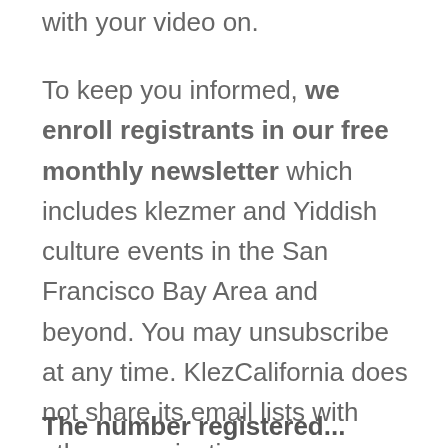with your video on.
To keep you informed, we enroll registrants in our free monthly newsletter which includes klezmer and Yiddish culture events in the San Francisco Bay Area and beyond. You may unsubscribe at any time. KlezCalifornia does not share its email lists with other organizations.
The number registered...